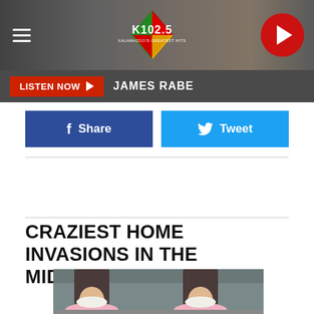[Figure (screenshot): K102.5 radio station website header with hamburger menu, K102.5 logo, and red circular play button]
LISTEN NOW  JAMES RABE
[Figure (infographic): Facebook Share button (blue) and Twitter Tweet button (light blue) side by side]
CRAZIEST HOME INVASIONS IN THE MIDWEST FOR 2021
[Figure (photo): Photo of feet wearing pink fuzzy-lined Crocs slippers with flower decoration, on a brick surface]